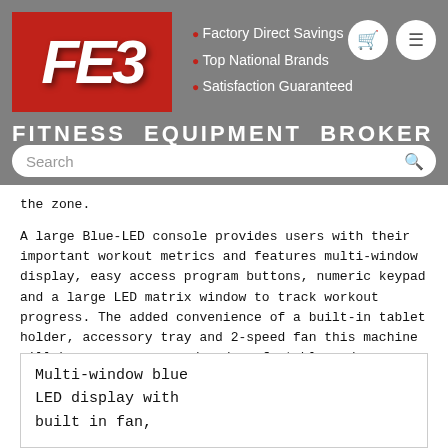FE3 - Factory Direct Savings · Top National Brands · Satisfaction Guaranteed · FITNESS EQUIPMENT BROKER
the zone.
A large Blue-LED console provides users with their important workout metrics and features multi-window display, easy access program buttons, numeric keypad and a large LED matrix window to track workout progress. The added convenience of a built-in tablet holder, accessory tray and 2-speed fan this machine will keep users engaged and comfortable and encourage longer workouts.
Multi-window blue LED display with built in fan,